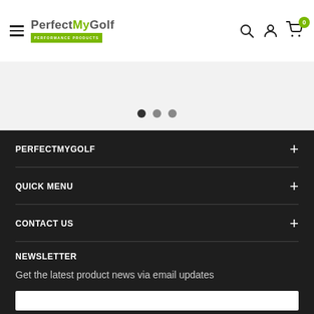PerfectMyGolf - Performance Products
[Figure (other): Carousel slider pagination dots (3 dots, first active)]
PERFECTMYGOLF
QUICK MENU
CONTACT US
NEWSLETTER
Get the latest product news via email updates